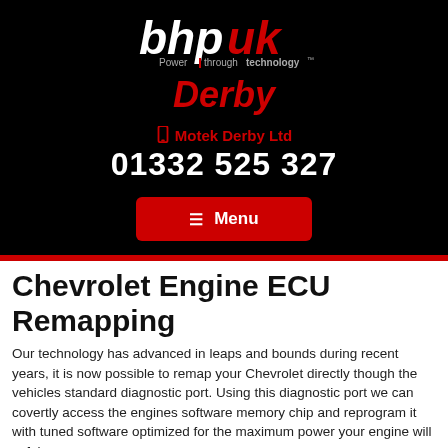[Figure (logo): bhpuk logo — black background with white 'bhp' bold text and red 'uk', tagline 'Power through technology']
Derby
📱 Motek Derby Ltd
01332 525 327
☰ Menu
Chevrolet Engine ECU Remapping
Our technology has advanced in leaps and bounds during recent years, it is now possible to remap your Chevrolet directly though the vehicles standard diagnostic port. Using this diagnostic port we can covertly access the engines software memory chip and reprogram it with tuned software optimized for the maximum power your engine will safely